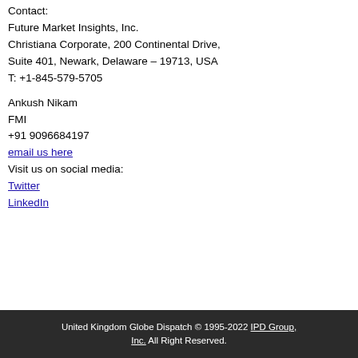Contact:
Future Market Insights, Inc.
Christiana Corporate, 200 Continental Drive,
Suite 401, Newark, Delaware – 19713, USA
T: +1-845-579-5705
Ankush Nikam
FMI
+91 9096684197
email us here
Visit us on social media:
Twitter
LinkedIn
United Kingdom Globe Dispatch © 1995-2022 IPD Group, Inc. All Right Reserved.